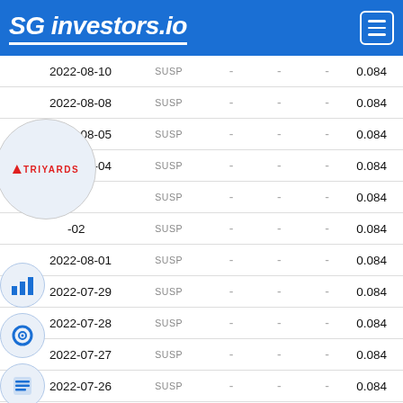SG investors.io
| Date | Status |  |  |  | Value |
| --- | --- | --- | --- | --- | --- |
| 2022-08-10 | SUSP | - | - | - | 0.084 |
| 2022-08-08 | SUSP | - | - | - | 0.084 |
| 2022-08-05 | SUSP | - | - | - | 0.084 |
| 2022-08-04 | SUSP | - | - | - | 0.084 |
| -03 | SUSP | - | - | - | 0.084 |
| -02 | SUSP | - | - | - | 0.084 |
| 2022-08-01 | SUSP | - | - | - | 0.084 |
| 2022-07-29 | SUSP | - | - | - | 0.084 |
| 2022-07-28 | SUSP | - | - | - | 0.084 |
| 2022-07-27 | SUSP | - | - | - | 0.084 |
| 2022-07-26 | SUSP | - | - | - | 0.084 |
| 2022-07-25 | SUSP | - | - | - | 0.084 |